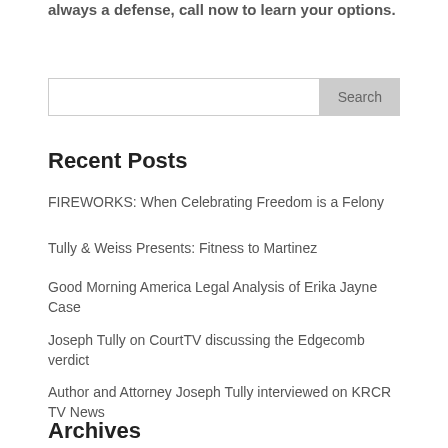always a defense, call now to learn your options.
Search
Recent Posts
FIREWORKS: When Celebrating Freedom is a Felony
Tully & Weiss Presents: Fitness to Martinez
Good Morning America Legal Analysis of Erika Jayne Case
Joseph Tully on CourtTV discussing the Edgecomb verdict
Author and Attorney Joseph Tully interviewed on KRCR TV News
Archives